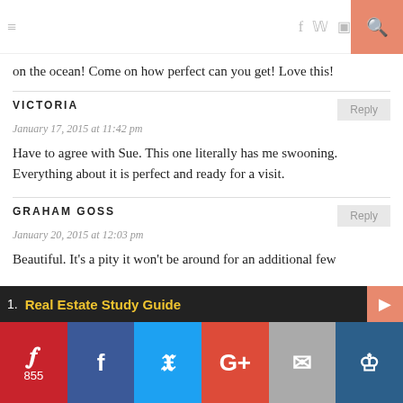≡  f  twitter  instagram  pinterest  youtube  🔍
on the ocean! Come on how perfect can you get! Love this!
VICTORIA
January 17, 2015 at 11:42 pm
Have to agree with Sue. This one literally has me swooning. Everything about it is perfect and ready for a visit.
GRAHAM GOSS
January 20, 2015 at 12:03 pm
Beautiful. It's a pity it won't be around for an additional few
1. Real Estate Study Guide
855